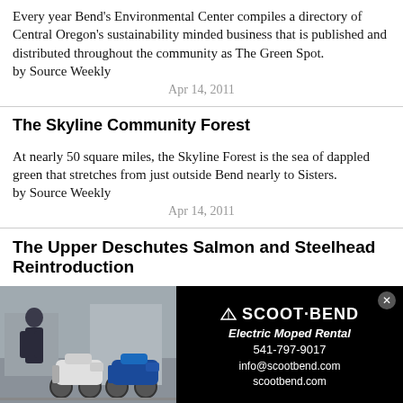Every year Bend's Environmental Center compiles a directory of Central Oregon's sustainability minded business that is published and distributed throughout the community as The Green Spot.
by Source Weekly
Apr 14, 2011
The Skyline Community Forest
At nearly 50 square miles, the Skyline Forest is the sea of dappled green that stretches from just outside Bend nearly to Sisters.
by Source Weekly
Apr 14, 2011
The Upper Deschutes Salmon and Steelhead Reintroduction
[Figure (photo): Advertisement for Scoot Bend Electric Moped Rental showing two mopeds/scooters parked outside with a person standing nearby, alongside black panel with company name, tagline, phone number and website.]